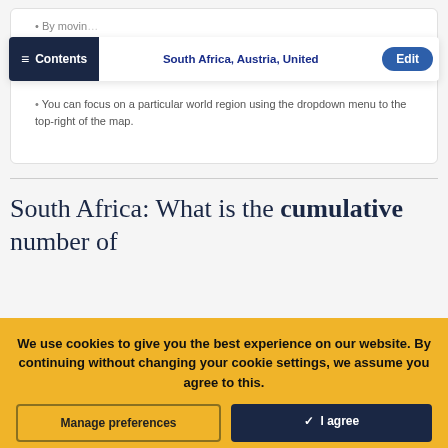By movin...
≡ Contents   South Africa, Austria, United   Edit
You can focus on a particular world region using the dropdown menu to the top-right of the map.
South Africa: What is the cumulative number of
We use cookies to give you the best experience on our website. By continuing without changing your cookie settings, we assume you agree to this.
Manage preferences   ✓ I agree